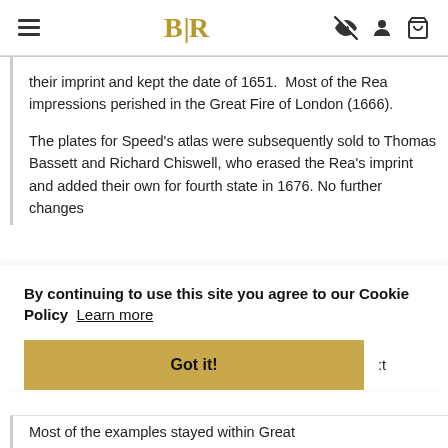BLR (logo with hamburger menu and icons)
their imprint and kept the date of 1651.  Most of the Rea impressions perished in the Great Fire of London (1666).
The plates for Speed's atlas were subsequently sold to Thomas Bassett and Richard Chiswell, who erased the Rea's imprint and added their own for fourth state in 1676. No further changes [truncated]
By continuing to use this site you agree to our Cookie Policy  Learn more
Got it!
Most of the examples stayed within Great